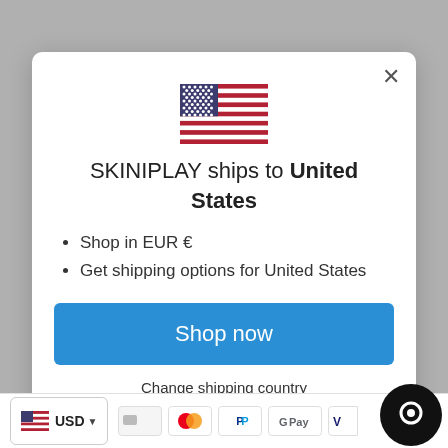[Figure (illustration): US flag emoji centered in modal dialog]
SKINIPLAY ships to United States
Shop in EUR €
Get shipping options for United States
Shop now
Change shipping country
USD
[Figure (screenshot): Bottom bar with currency selector, payment icons (Mastercard, PayPal, GPay, Visa) and chat button]